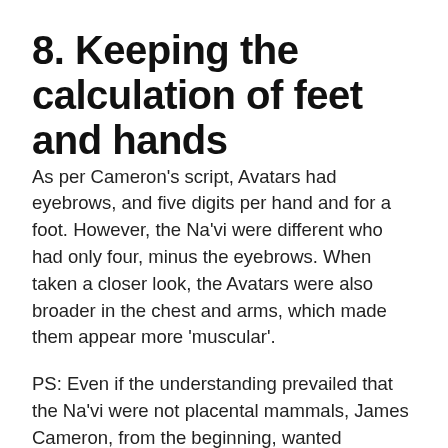8. Keeping the calculation of feet and hands
As per Cameron's script, Avatars had eyebrows, and five digits per hand and for a foot. However, the Na'vi were different who had only four, minus the eyebrows. When taken a closer look, the Avatars were also broader in the chest and arms, which made them appear more 'muscular'.
PS: Even if the understanding prevailed that the Na'vi were not placental mammals, James Cameron, from the beginning, wanted